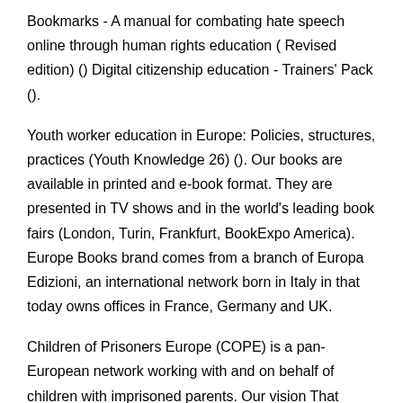Bookmarks - A manual for combating hate speech online through human rights education ( Revised edition) () Digital citizenship education - Trainers' Pack ().
Youth worker education in Europe: Policies, structures, practices (Youth Knowledge 26) (). Our books are available in printed and e-book format. They are presented in TV shows and in the world's leading book fairs (London, Turin, Frankfurt, BookExpo America). Europe Books brand comes from a branch of Europa Edizioni, an international network born in Italy in that today owns offices in France, Germany and UK.
Children of Prisoners Europe (COPE) is a pan-European network working with and on behalf of children with imprisoned parents. Our vision That every child be guaranteed fair, unbiased treatment, protection of his or her rights, and equal opportunities regardless of social, economic or cultural heritage.
If you've written a children's book and want to get it published, you have a few options. You can self-publish your book, hire a publishing